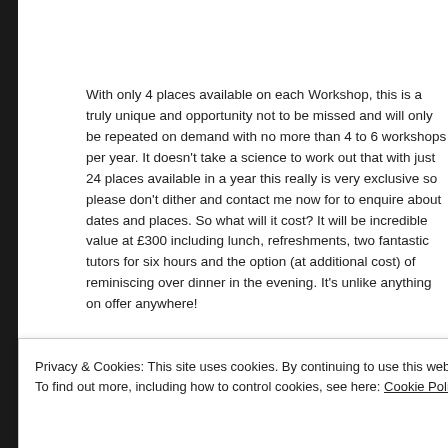With only 4 places available on each Workshop, this is a truly unique and opportunity not to be missed and will only be repeated on demand with no more than 4 to 6 workshops per year. It doesn't take a science to work out that with just 24 places available in a year this really is very exclusive so please don't dither and contact me now for to enquire about dates and places. So what will it cost? It will be incredible value at £300 including lunch, refreshments, two fantastic tutors for six hours and the option (at additional cost) of reminiscing over dinner in the evening. It's unlike anything on offer anywhere!
The first practical workshop will take place in the Spring of 2018 with a special introductory price on offer in the Winter of 2017 through to the end of March 2018. Watch this
Sponsored Content
Privacy & Cookies: This site uses cookies. By continuing to use this website, you agree to their use.
To find out more, including how to control cookies, see here: Cookie Policy